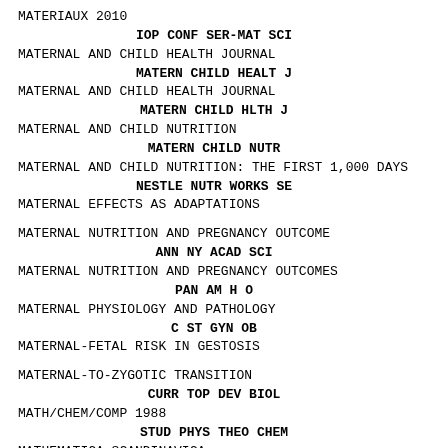MATERIAUX 2010
    IOP CONF SER-MAT SCI
MATERNAL AND CHILD HEALTH JOURNAL
    MATERN CHILD HEALT J
MATERNAL AND CHILD HEALTH JOURNAL
    MATERN CHILD HLTH J
MATERNAL AND CHILD NUTRITION
    MATERN CHILD NUTR
MATERNAL AND CHILD NUTRITION: THE FIRST 1,000 DAYS
    NESTLE NUTR WORKS SE
MATERNAL EFFECTS AS ADAPTATIONS
MATERNAL NUTRITION AND PREGNANCY OUTCOME
    ANN NY ACAD SCI
MATERNAL NUTRITION AND PREGNANCY OUTCOMES
    PAN AM H O
MATERNAL PHYSIOLOGY AND PATHOLOGY
    C ST GYN OB
MATERNAL-FETAL RISK IN GESTOSIS
MATERNAL-TO-ZYGOTIC TRANSITION
    CURR TOP DEV BIOL
MATH/CHEM/COMP 1988
    STUD PHYS THEO CHEM
MATHEMATICA SCANDINAVICA
    MATH SCAND
MATHEMATICA SLOVACA
    MATH SLOVACA
MATHEMATICAL & COMPUTATIONAL APPLICATIONS
    MATH COMPUT APPL